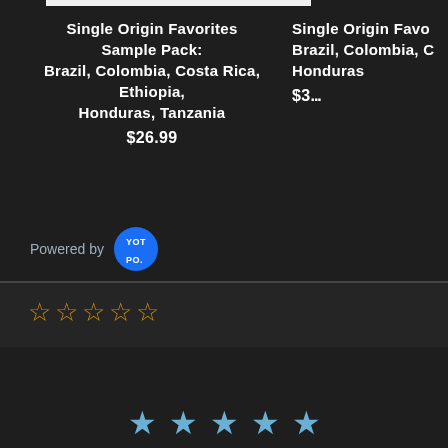[Figure (screenshot): White horizontal bar at top of page]
Single Origin Favorites Sample Pack: Brazil, Colombia, Costa Rica, Ethiopia, Honduras, Tanzania
$26.99
Single Origin Favo... Brazil, Colombia, C... Honduras...
$3...
Powered by YOTPO
[Figure (other): Five empty star rating icons in orange/gold outline]
[Figure (other): Five solid blue star rating icons]
[Figure (other): Grey horizontal scrollbar at bottom]